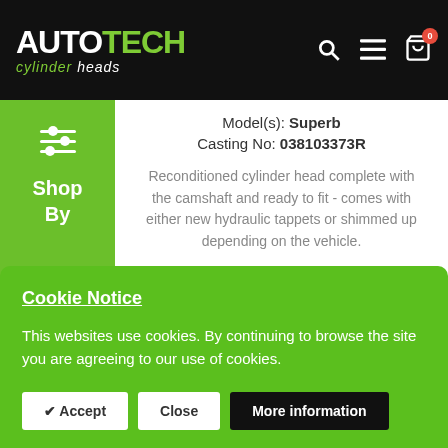AUTOTECH cylinder heads — navigation header
Model(s): Superb
Casting No: 038103373R
Reconditioned cylinder head complete with the camshaft and ready to fit - comes with either new hydraulic tappets or shimmed up depending on the vehicle.
£495.00 Excl. VAT
DETAILS
Shop By
Cookie Notice
This websites use cookies. By continuing to browse the site you are agreeing to our use of cookies.
✔ Accept | Close | More information